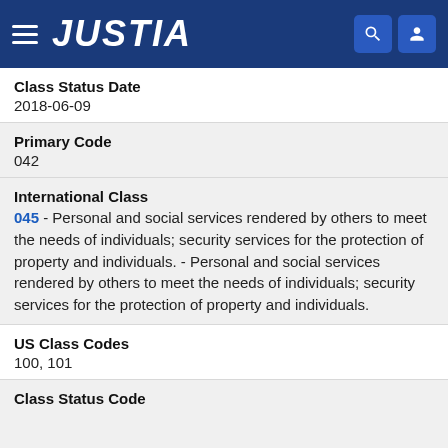JUSTIA
Class Status Date
2018-06-09
Primary Code
042
International Class
045 - Personal and social services rendered by others to meet the needs of individuals; security services for the protection of property and individuals. - Personal and social services rendered by others to meet the needs of individuals; security services for the protection of property and individuals.
US Class Codes
100, 101
Class Status Code